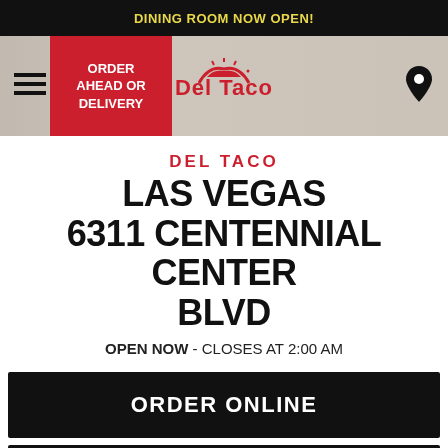DINING ROOM NOW OPEN!
[Figure (screenshot): Del Taco navigation bar with hamburger menu, red ORDER AHEAD OR DELIVERY button, Del Taco logo in center, and location pin icon on right]
DEL TACO
LAS VEGAS 6311 CENTENNIAL CENTER BLVD
OPEN NOW - CLOSES AT 2:00 AM
ORDER ONLINE
JOIN DEL YEAH! REWARDS